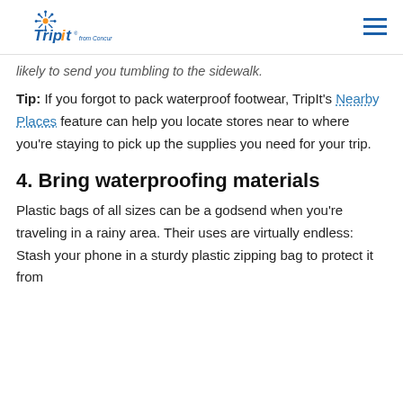TripIt from Concur [logo]
likely to send you tumbling to the sidewalk.
Tip: If you forgot to pack waterproof footwear, TripIt's Nearby Places feature can help you locate stores near to where you're staying to pick up the supplies you need for your trip.
4. Bring waterproofing materials
Plastic bags of all sizes can be a godsend when you're traveling in a rainy area. Their uses are virtually endless: Stash your phone in a sturdy plastic zipping bag to protect it from